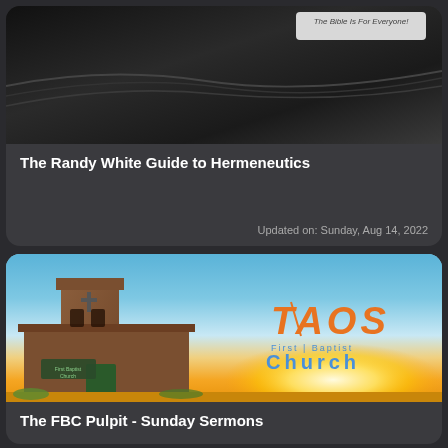[Figure (photo): Dark leather Bible with pages, and a small badge reading 'The Bible Is For Everyone!']
The Randy White Guide to Hermeneutics
Updated on: Sunday, Aug 14, 2022
[Figure (photo): Adobe-style church building (Taos First Baptist Church) with blue sky and sunset background, featuring the Taos First Baptist Church logo]
The FBC Pulpit - Sunday Sermons